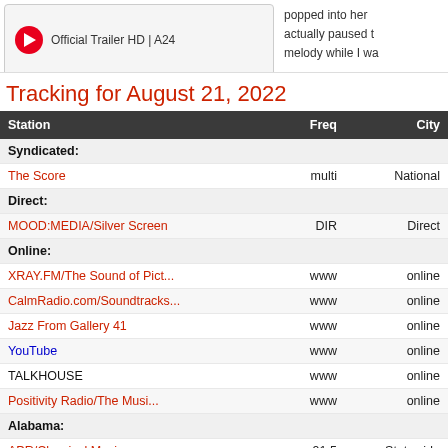[Figure (screenshot): Video thumbnail play button with text 'Official Trailer HD | A24']
popped into her head... actually paused t... melody while I wa...
Tracking for August 21, 2022
| Station | Freq | City |
| --- | --- | --- |
| Syndicated: |  |  |
| The Score | multi | National |
| Direct: |  |  |
| MOOD:MEDIA/Silver Screen | DIR | Direct |
| Online: |  |  |
| XRAY.FM/The Sound of Pict... | www | online |
| CalmRadio.com/Soundtracks... | www | online |
| Jazz From Gallery 41 | www | online |
| YouTube | www | online |
| TALKHOUSE | www | online |
| Positivity Radio/The Musi... | www | online |
| Alabama: |  |  |
| APR/Classical Music | 91.5 | Statewide |
| California: |  |  |
| KSPC/The Sound of Pictures | 88.7 | Claremont |
| KPFK | 90.7 | Los Angeles |